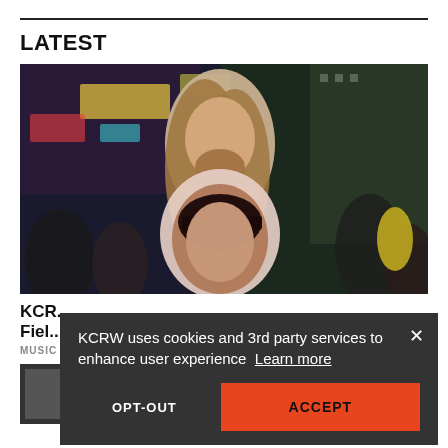LATEST
[Figure (photo): Two people standing in a crowded city street (Times Square) at night. A tall man with long wavy hair and beard in a tie-dye shirt stands behind a dark-haired woman with bangs. Crowd and neon signs visible in the background.]
KCR...
Fiel...
MUSIC
[Figure (photo): Small thumbnail image, partially visible at the bottom of the page.]
KCRW uses cookies and 3rd party services to enhance user experience  Learn more
OPT-OUT
ACCEPT
Your Privacy